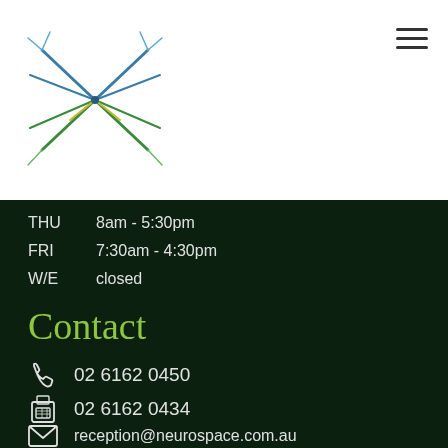[Figure (logo): Neurospace logo: abstract neuron/star shape with teal, green, and yellow lines]
THU   8am - 5:30pm
FRI   7:30am - 4:30pm
W/E   closed
Contact
02 6162 0450
02 6162 0434
reception@neurospace.com.au